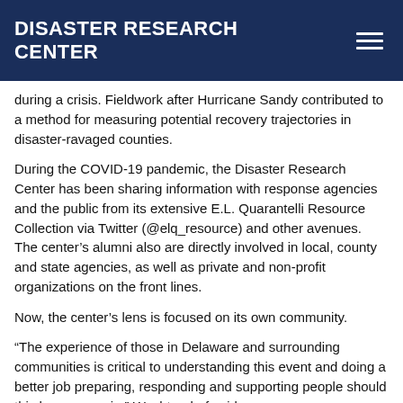DISASTER RESEARCH CENTER
during a crisis. Fieldwork after Hurricane Sandy contributed to a method for measuring potential recovery trajectories in disaster-ravaged counties.
During the COVID-19 pandemic, the Disaster Research Center has been sharing information with response agencies and the public from its extensive E.L. Quarantelli Resource Collection via Twitter (@elq_resource) and other avenues.  The center’s alumni also are directly involved in local, county and state agencies, as well as private and non-profit organizations on the front lines.
Now, the center’s lens is focused on its own community.
“The experience of those in Delaware and surrounding communities is critical to understanding this event and doing a better job preparing, responding and supporting people should this happen again,” Wachtendorf said.